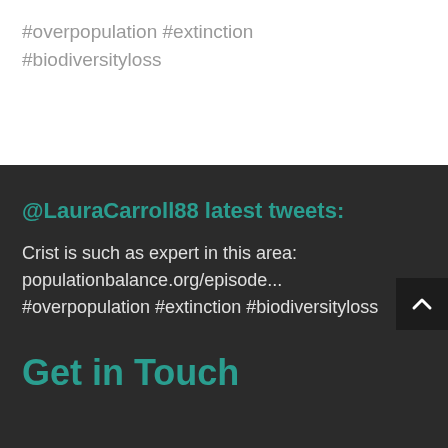#overpopulation #extinction #biodiversityloss
@LauraCarroll88 latest tweets:
Crist is such as expert in this area: populationbalance.org/episode... #overpopulation #extinction #biodiversityloss
Get in Touch